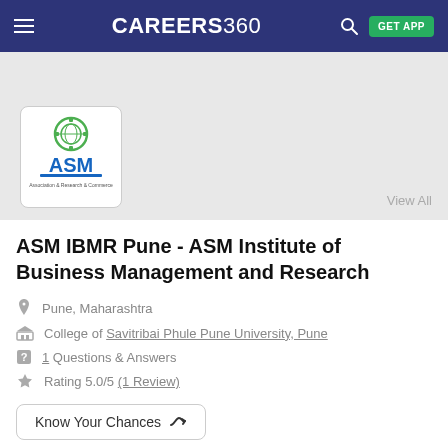CAREERS360
[Figure (logo): ASM Institute logo with gear icon and blue ASM text]
ASM IBMR Pune - ASM Institute of Business Management and Research
Pune, Maharashtra
College of Savitribai Phule Pune University, Pune
1 Questions & Answers
Rating 5.0/5 (1 Review)
Know Your Chances